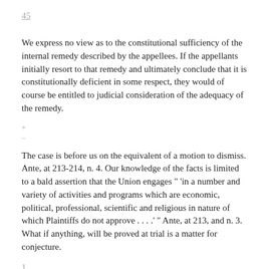45
We express no view as to the constitutional sufficiency of the internal remedy described by the appellees. If the appellants initially resort to that remedy and ultimately conclude that it is constitutionally deficient in some respect, they would of course be entitled to judicial consideration of the adequacy of the remedy.
*
–
The case is before us on the equivalent of a motion to dismiss. Ante, at 213-214, n. 4. Our knowledge of the facts is limited to a bald assertion that the Union engages " 'in a number and variety of activities and programs which are economic, political, professional, scientific and religious in nature of which Plaintiffs do not approve . . . .' " Ante, at 213, and n. 3. What if anything, will be proved at trial is a matter for conjecture.
1
The Court compared the union shop to the organized bar: "On the present record, there is no more an infringement or impairment of First